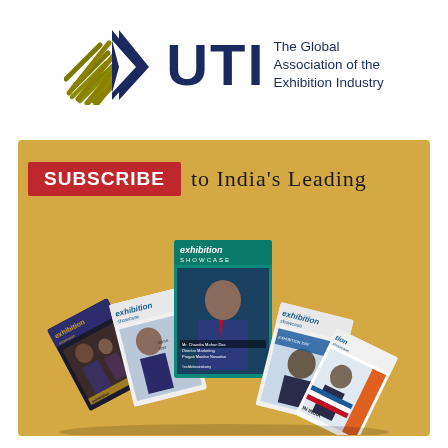[Figure (logo): UTI logo with olive/gold arrow graphic and dark navy 'UTI' text, accompanied by tagline 'The Global Association of the Exhibition Industry']
[Figure (infographic): Advertisement with tan/gold background showing 'SUBSCRIBE to India's Leading' text above a fan arrangement of five 'exhibition showcase' magazine covers featuring various people on covers]